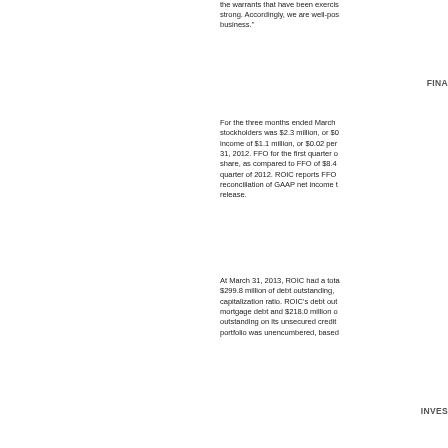the warrants that have been exercised strong. Accordingly, we are well-positioned to grow our business."
FINA
For the three months ended March stockholders was $2.3 million, or $0 income of $1.1 million, or $0.02 per 31, 2012. FFO for the first quarter of share, as compared to FFO of $8.4 quarter of 2012. ROIC reports FFO reconciliation of GAAP net income to release.
At March 31, 2013, ROIC had a total $299.8 million of debt outstanding, capitalization ratio. ROIC's debt outstanding mortgage debt and $218.0 million outstanding on its unsecured credit portfolio was unencumbered, based
INVES